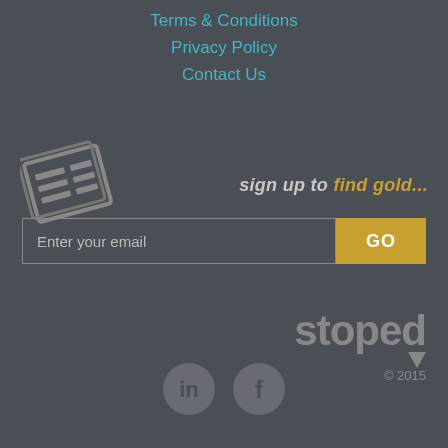Terms & Conditions
Privacy Policy
Contact Us
[Figure (illustration): Newspaper/document icon in grey, slightly tilted]
sign up to find gold...
[Figure (other): Email signup form with 'Enter your email' input field and 'GO' button]
[Figure (logo): stoped logo with arrow and © 2015]
[Figure (other): LinkedIn and Facebook social media icons in grey circles]